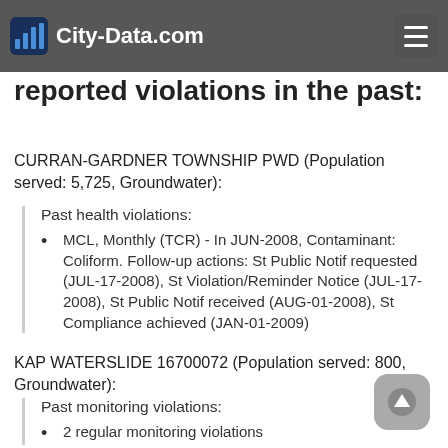City-Data.com
Drinking water stations with addresses in Springfield and their reported violations in the past:
CURRAN-GARDNER TOWNSHIP PWD (Population served: 5,725, Groundwater):
Past health violations:
MCL, Monthly (TCR) - In JUN-2008, Contaminant: Coliform. Follow-up actions: St Public Notif requested (JUL-17-2008), St Violation/Reminder Notice (JUL-17-2008), St Public Notif received (AUG-01-2008), St Compliance achieved (JAN-01-2009)
KAP WATERSLIDE 16700072 (Population served: 800, Groundwater):
Past monitoring violations:
2 regular monitoring violations